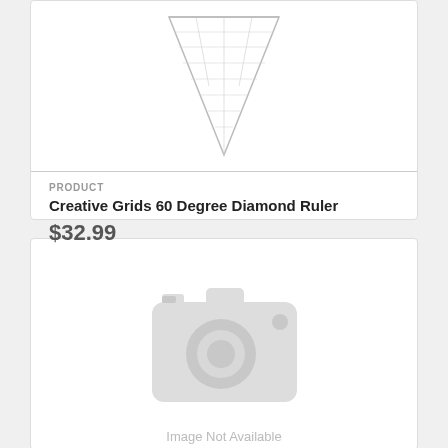[Figure (photo): A triangular 60 degree diamond ruler with measurement markings, shown point-down]
PRODUCT
Creative Grids 60 Degree Diamond Ruler
$32.99
[Figure (other): Image Not Available placeholder with camera icon]